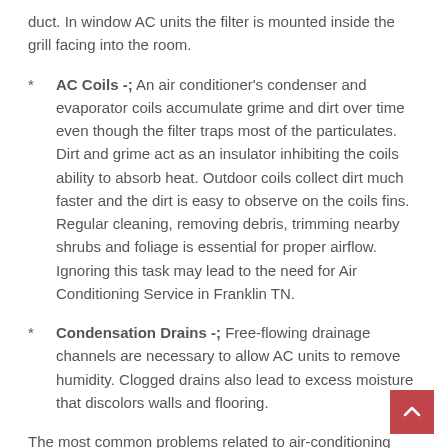duct. In window AC units the filter is mounted inside the grill facing into the room.
* AC Coils -; An air conditioner's condenser and evaporator coils accumulate grime and dirt over time even though the filter traps most of the particulates. Dirt and grime act as an insulator inhibiting the coils ability to absorb heat. Outdoor coils collect dirt much faster and the dirt is easy to observe on the coils fins. Regular cleaning, removing debris, trimming nearby shrubs and foliage is essential for proper airflow. Ignoring this task may lead to the need for Air Conditioning Service in Franklin TN.
* Condensation Drains -; Free-flowing drainage channels are necessary to allow AC units to remove humidity. Clogged drains also lead to excess moisture that discolors walls and flooring.
The most common problems related to air-conditioning systems are failing to start, blowing warm air instead of